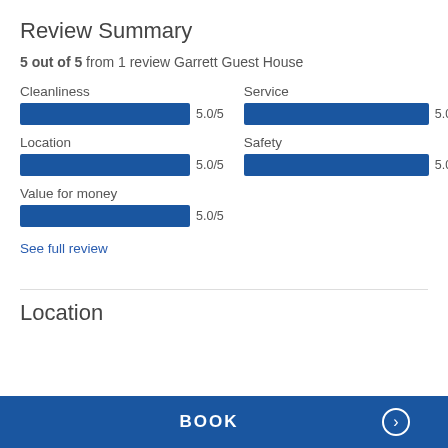Review Summary
5 out of 5 from 1 review Garrett Guest House
[Figure (bar-chart): Cleanliness]
See full review
Location
BOOK